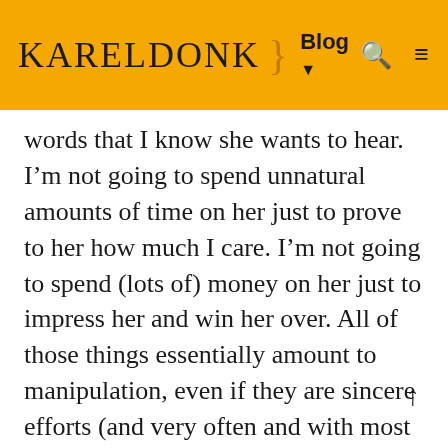KARELDONK } Blog ▾ 🔍 ≡
words that I know she wants to hear. I'm not going to spend unnatural amounts of time on her just to prove to her how much I care. I'm not going to spend (lots of) money on her just to impress her and win her over. All of those things essentially amount to manipulation, even if they are sincere efforts (and very often and with most men they're not). And if there's one thing that I hate in life, it's manipulation. Most men will not readily want to admit this, but employing all these tactics to win a woman over